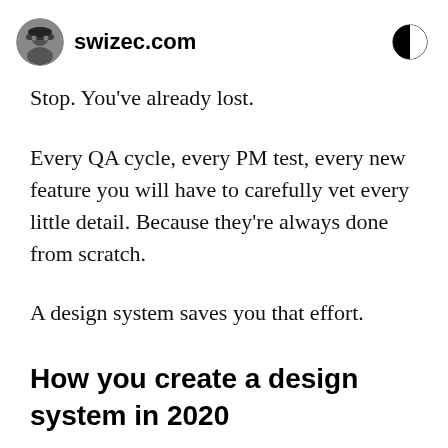swizec.com
Stop. You've already lost.
Every QA cycle, every PM test, every new feature you will have to carefully vet every little detail. Because they're always done from scratch.
A design system saves you that effort.
How you create a design system in 2020